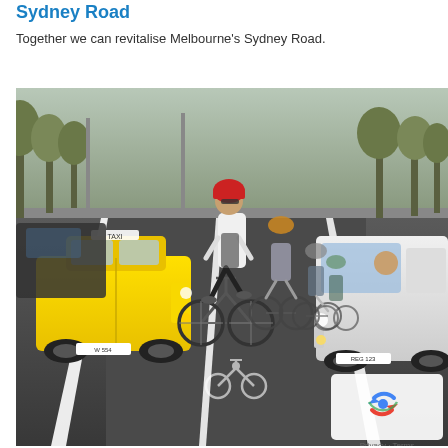Sydney Road
Together we can revitalise Melbourne's Sydney Road.
[Figure (photo): Cyclists riding in a dedicated bike lane on an urban road, with a yellow taxi and white van in adjacent traffic lanes. Trees line the road. A man in a white shirt and red helmet leads the group of cyclists. A bicycle lane symbol is visible on the road surface. A reCAPTCHA / Privacy - Terms overlay appears in the lower right corner.]